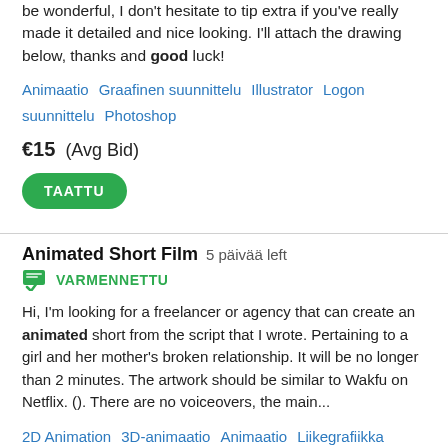be wonderful, I don't hesitate to tip extra if you've really made it detailed and nice looking. I'll attach the drawing below, thanks and good luck!
Animaatio   Graafinen suunnittelu   Illustrator   Logon suunnittelu   Photoshop
€15  (Avg Bid)
TAATTU
Animated Short Film   5 päivää left
VARMENNETTU
Hi, I'm looking for a freelancer or agency that can create an animated short from the script that I wrote. Pertaining to a girl and her mother's broken relationship. It will be no longer than 2 minutes. The artwork should be similar to Wakfu on Netflix. (). There are no voiceovers, the main...
2D Animation   3D-animaatio   Animaatio   Liikegrafiikka   Videoeditointi